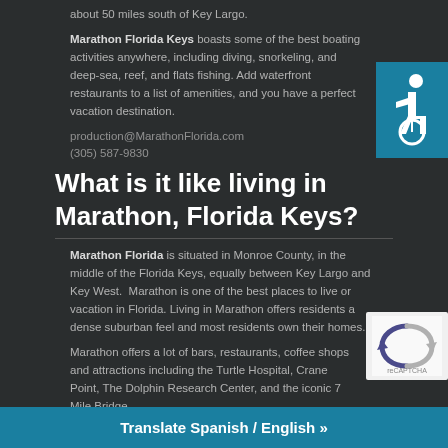about 50 miles south of Key Largo.
Marathon Florida Keys boasts some of the best boating activities anywhere, including diving, snorkeling, and deep-sea, reef, and flats fishing. Add waterfront restaurants to a list of amenities, and you have a perfect vacation destination.
production@MarathonFlorida.com
(305) 587-9830
[Figure (illustration): Wheelchair accessibility icon on teal/blue background]
What is it like living in Marathon, Florida Keys?
Marathon Florida is situated in Monroe County, in the middle of the Florida Keys, equally between Key Largo and Key West.  Marathon is one of the best places to live or vacation in Florida. Living in Marathon offers residents a dense suburban feel and most residents own their homes.
Marathon offers a lot of bars, restaurants, coffee shops and attractions including the Turtle Hospital, Crane Point, The Dolphin Research Center, and the iconic 7 Mile Bridge.
[Figure (logo): reCAPTCHA badge logo]
The public schools in M...
Translate Spanish / English »